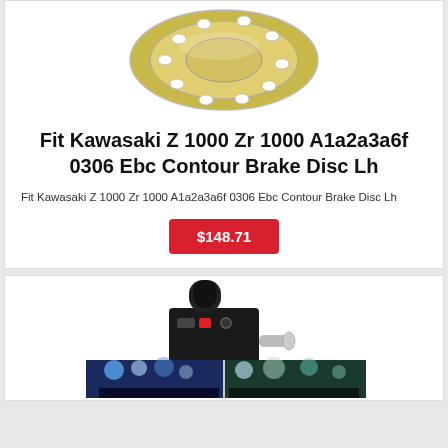[Figure (photo): Partial top view of a motorcycle brake disc (rotor) in gold/silver metallic color on white background, cropped at top of page]
Fit Kawasaki Z 1000 Zr 1000 A1a2a3a6f 0306 Ebc Contour Brake Disc Lh
Fit Kawasaki Z 1000 Zr 1000 A1a2a3a6f 0306 Ebc Contour Brake Disc Lh
$148.71
[Figure (photo): Black electric/smoke machine device with cylindrical nozzle on top, power cable, and at bottom a composite photo showing colorful light effects]